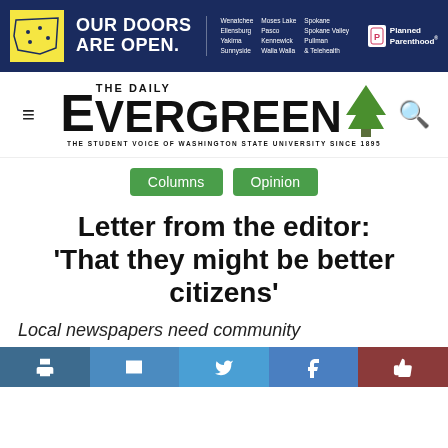[Figure (other): Planned Parenthood advertisement banner with dark navy background, Washington state map logo in yellow, 'Our Doors Are Open.' text, list of Washington cities, and Planned Parenthood logo]
[Figure (logo): The Daily Evergreen newspaper logo with large E, tree icon, tagline 'The Student Voice of Washington State University Since 1895', hamburger menu icon on left, search icon on right]
Columns   Opinion
Letter from the editor: ‘That they might be better citizens’
Local newspapers need community support — even the Moscow-Pullman Daily Gazette